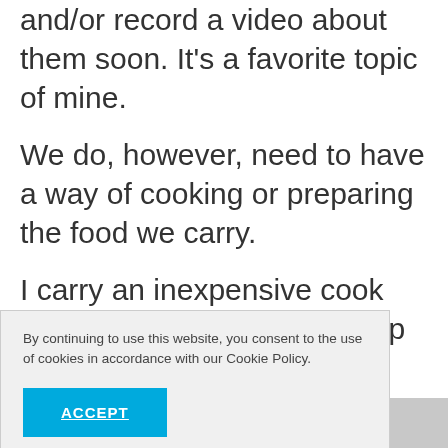and/or record a video about them soon. It's a favorite topic of mine.
We do, however, need to have a way of cooking or preparing the food we carry.
I carry an inexpensive cook kit, as well as a stainless cup and uninsulated stainless [se tools] [ougout]
By continuing to use this website, you consent to the use of cookies in accordance with our Cookie Policy.
ACCEPT